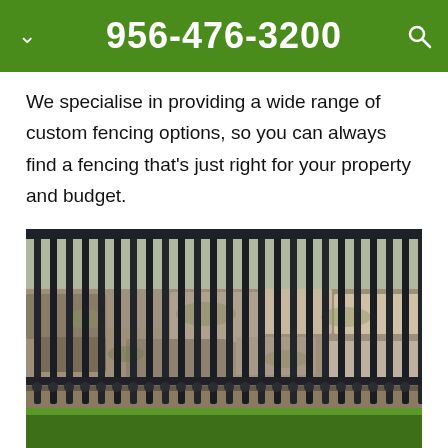956-476-3200
We specialise in providing a wide range of custom fencing options, so you can always find a fencing that’s just right for your property and budget.
[Figure (photo): Close-up photograph of a black iron fence with vertical bars, mounted on a weathered stone ledge. Green grass is visible in the foreground and background.]